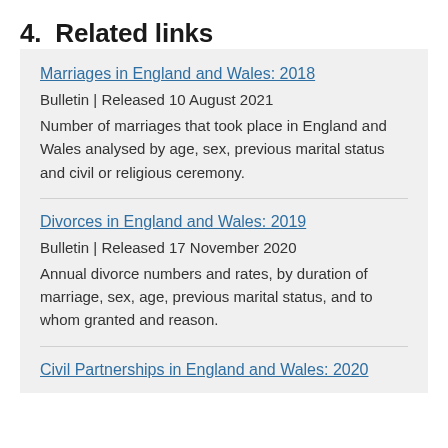4.  Related links
Marriages in England and Wales: 2018
Bulletin | Released 10 August 2021
Number of marriages that took place in England and Wales analysed by age, sex, previous marital status and civil or religious ceremony.
Divorces in England and Wales: 2019
Bulletin | Released 17 November 2020
Annual divorce numbers and rates, by duration of marriage, sex, age, previous marital status, and to whom granted and reason.
Civil Partnerships in England and Wales: 2020